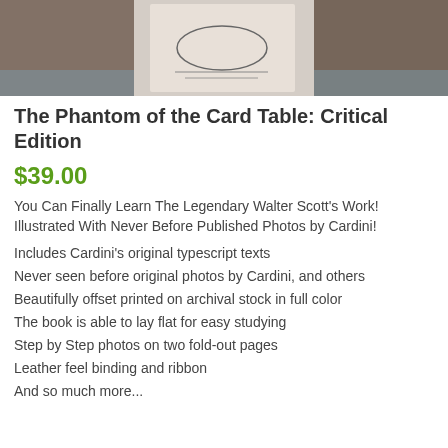[Figure (photo): Photo of a book titled 'The Phantom of the Card Table: Critical Edition' lying on a surface]
The Phantom of the Card Table: Critical Edition
$39.00
You Can Finally Learn The Legendary Walter Scott's Work! Illustrated With Never Before Published Photos by Cardini!
Includes Cardini's original typescript texts
Never seen before original photos by Cardini, and others
Beautifully offset printed on archival stock in full color
The book is able to lay flat for easy studying
Step by Step photos on two fold-out pages
Leather feel binding and ribbon
And so much more...